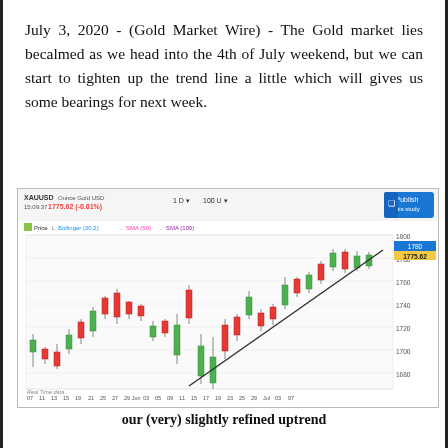July 3, 2020 - (Gold Market Wire) - The Gold market lies becalmed as we head into the 4th of July weekend, but we can start to tighten up the trend line a little which will gives us some bearings for next week.
[Figure (continuous-plot): XAUUSD Ounce Gold USD candlestick chart, daily (1D), 100U. Price: 1775.62 (-0.01%). Indicators: Price, Bollinger (20,2), SMA (50), SMA (100). Shows candlestick price action from early May through July 7, with an upward trend line drawn from around June 3 to July 7, showing gold price range approximately 1660 to 1800. Current price label 1775.62 shown on right axis.]
our (very) slightly refined uptrend